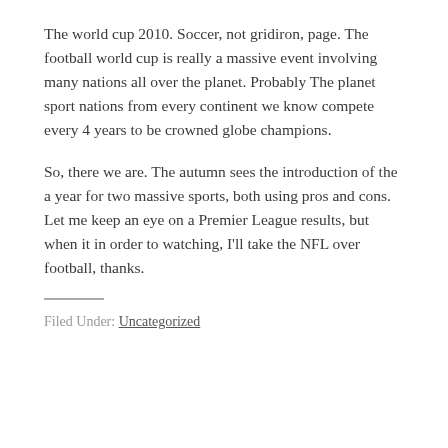The world cup 2010. Soccer, not gridiron, page. The football world cup is really a massive event involving many nations all over the planet. Probably The planet sport nations from every continent we know compete every 4 years to be crowned globe champions.
So, there we are. The autumn sees the introduction of the a year for two massive sports, both using pros and cons. Let me keep an eye on a Premier League results, but when it in order to watching, I'll take the NFL over football, thanks.
Filed Under: Uncategorized